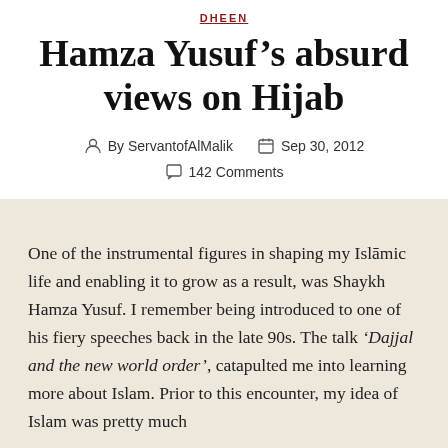DHEEN
Hamza Yusuf's absurd views on Hijab
By ServantofAlMalik   Sep 30, 2012   142 Comments
One of the instrumental figures in shaping my Islāmic life and enabling it to grow as a result, was Shaykh Hamza Yusuf. I remember being introduced to one of his fiery speeches back in the late 90s. The talk 'Dajjal and the new world order', catapulted me into learning more about Islam. Prior to this encounter, my idea of Islam was pretty much